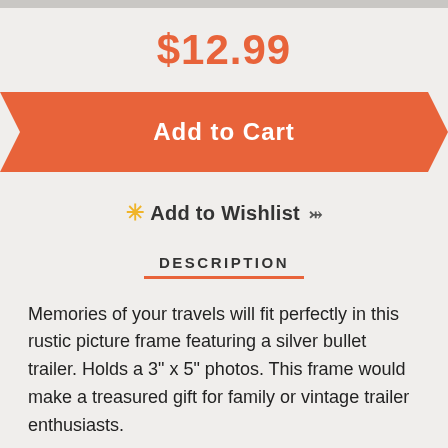$12.99
[Figure (infographic): Orange banner ribbon button with notched left and right edges containing white bold text 'Add to Cart']
Add to Wishlist
DESCRIPTION
Memories of your travels will fit perfectly in this rustic picture frame featuring a silver bullet trailer. Holds a 3" x 5" photos. This frame would make a treasured gift for family or vintage trailer enthusiasts.